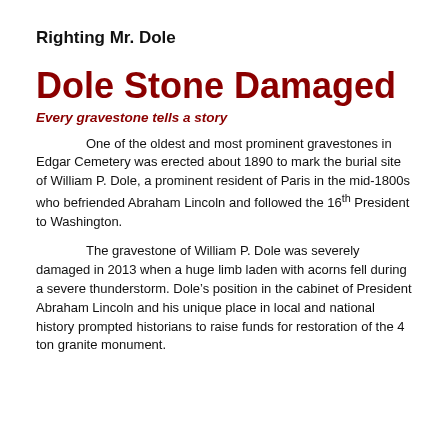Righting Mr. Dole
Dole Stone Damaged
Every gravestone tells a story
One of the oldest and most prominent gravestones in Edgar Cemetery was erected about 1890 to mark the burial site of William P. Dole, a prominent resident of Paris in the mid-1800s who befriended Abraham Lincoln and followed the 16th President to Washington.
The gravestone of William P. Dole was severely damaged in 2013 when a huge limb laden with acorns fell during a severe thunderstorm. Dole’s position in the cabinet of President Abraham Lincoln and his unique place in local and national history prompted historians to raise funds for restoration of the 4 ton granite monument.